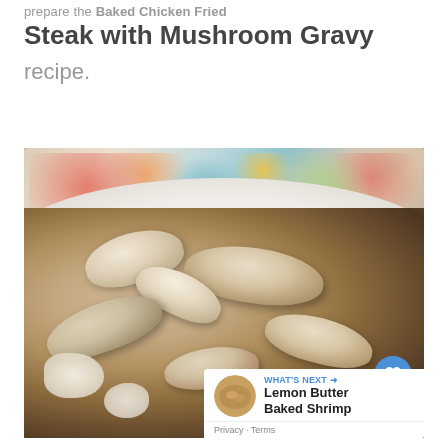prepare the Baked Chicken Fried Steak with Mushroom Gravy recipe.
[Figure (photo): Close-up photo of Baked Chicken Fried Steak covered with mushroom gravy and sliced mushrooms on a white plate, with colorful floral background and a What's Next overlay showing Lemon Butter Baked Shrimp]